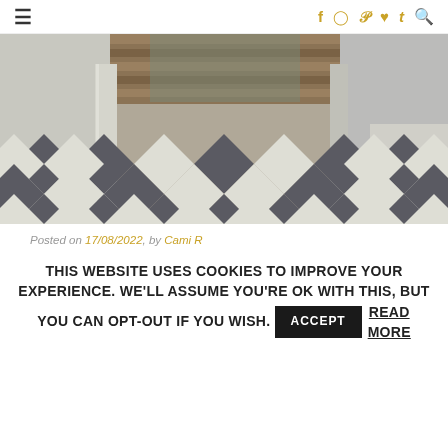≡  f  ⊙  ℗  ♥  t  🔍
[Figure (photo): Interior hallway with a black and white diagonal checkerboard tile floor, white columns, and wood flooring visible in the background doorway.]
Posted on 17/08/2022, by Cami R
THIS WEBSITE USES COOKIES TO IMPROVE YOUR EXPERIENCE. WE'LL ASSUME YOU'RE OK WITH THIS, BUT YOU CAN OPT-OUT IF YOU WISH. ACCEPT READ MORE